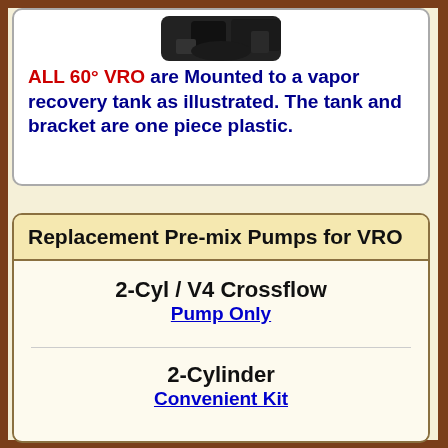[Figure (photo): Partial image of a VRO pump mounted to a vapor recovery tank, showing mechanical components at the top of the card.]
ALL 60° VRO are Mounted to a vapor recovery tank as illustrated. The tank and bracket are one piece plastic.
Replacement Pre-mix Pumps for VRO
2-Cyl / V4 Crossflow
Pump Only
2-Cylinder
Convenient Kit